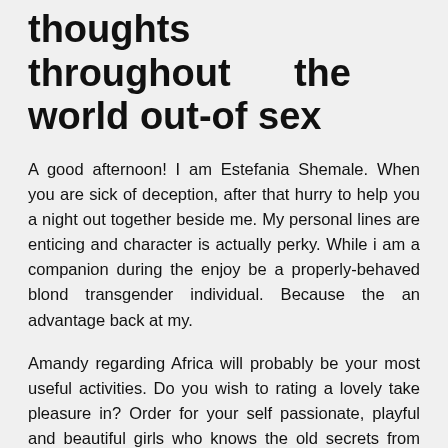thoughts throughout the world out-of sex
A good afternoon! I am Estefania Shemale. When you are sick of deception, after that hurry to help you a night out together beside me. My personal lines are enticing and character is actually perky. While i am a companion during the enjoy be a properly-behaved blond transgender individual. Because the an advantage back at my.
Amandy regarding Africa will probably be your most useful activities. Do you wish to rating a lovely take pleasure in? Order for your self passionate, playful and beautiful girls who knows the old secrets from loving relationship! Warm petroleum which will make you sensuous helping in order to relax regarding the moral pressure and have now a fee regarding vivacity getting structure. You can telephone call otherwise produce